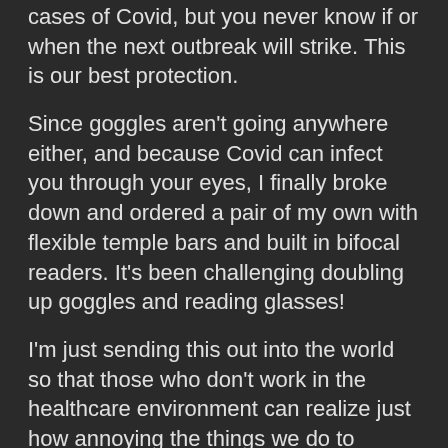cases of Covid, but you never know if or when the next outbreak will strike. This is our best protection.
Since goggles aren't going anywhere either, and because Covid can infect you through your eyes, I finally broke down and ordered a pair of my own with flexible temple bars and built in bifocal readers. It's been challenging doubling up goggles and reading glasses!
I'm just sending this out into the world so that those who don't work in the healthcare environment can realize just how annoying the things we do to protect our patients and each other can be, even if you aren't on a Covid unit. These measures go way beyond what is traditional in healthcare. I truly don't blame colleagues who have left the hospital setting. It's just tough. Really tough. Because on top of the daily